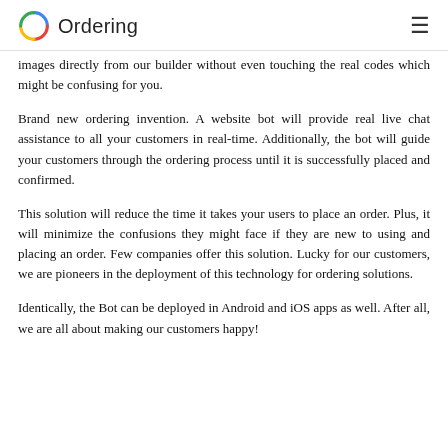Ordering
images directly from our builder without even touching the real codes which might be confusing for you.
Brand new ordering invention. A website bot will provide real live chat assistance to all your customers in real-time. Additionally, the bot will guide your customers through the ordering process until it is successfully placed and confirmed.
This solution will reduce the time it takes your users to place an order. Plus, it will minimize the confusions they might face if they are new to using and placing an order. Few companies offer this solution. Lucky for our customers, we are pioneers in the deployment of this technology for ordering solutions.
Identically, the Bot can be deployed in Android and iOS apps as well. After all, we are all about making our customers happy!